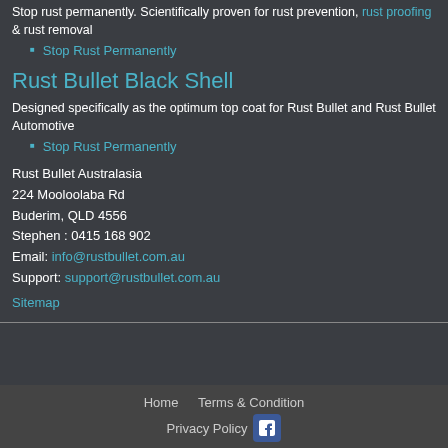Stop rust permanently. Scientifically proven for rust prevention, rust proofing & rust removal
Stop Rust Permanently
Rust Bullet Black Shell
Designed specifically as the optimum top coat for Rust Bullet and Rust Bullet Automotive
Stop Rust Permanently
Rust Bullet Australasia
224 Mooloolaba Rd
Buderim, QLD 4556
Stephen : 0415 168 902
Email: info@rustbullet.com.au
Support: support@rustbullet.com.au
Sitemap
Home   Terms & Condition   Privacy Policy